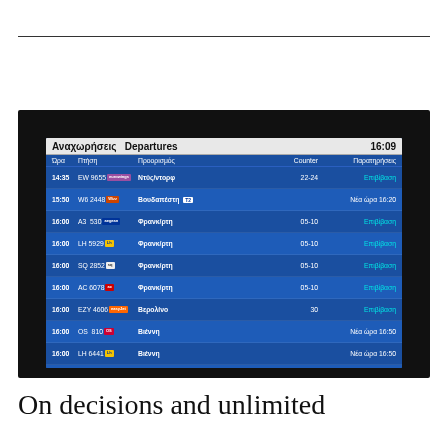[Figure (photo): Airport departures board showing flights in Greek and English. Header: 'Αναχωρήσεις Departures 16:09'. Columns: Ώρα (Time), Πτήση (Flight), Προορισμός (Destination), Counter, Παρατηρήσεις (Remarks). Flights listed: 14:35 EW 9655 Ντύς/ντορφ 22-24 Επιβίβαση; 15:50 W6 2448 Βουδαπέστη T2 Νέα ώρα 16:20; 16:00 A3 530 Φρανκ/ρτη 05-10 Επιβίβαση; 16:00 LH 5929 Φρανκ/ρτη 05-10 Επιβίβαση; 16:00 SQ 2852 Φρανκ/ρτη 05-10 Επιβίβαση; 16:00 AC 6078 Φρανκ/ρτη 05-10 Επιβίβαση; 16:00 EZY 4606 Βερολίνο 30 Επιβίβαση; 16:00 OS 810 Βιέννη Νέα ώρα 16:50; 16:00 LH 6441 Βιέννη Νέα ώρα 16:50; 16:00 SK 9472 Βιέννη Νέα ώρα 16:50]
On decisions and unlimited